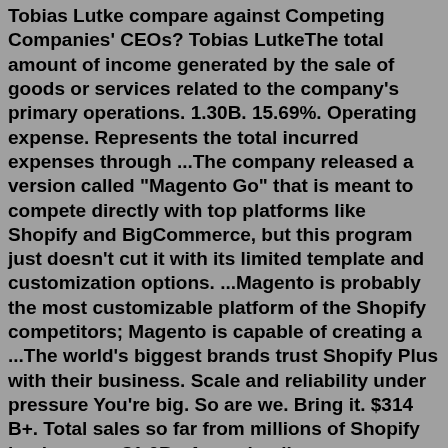Tobias Lutke compare against Competing Companies' CEOs? Tobias LutkeThe total amount of income generated by the sale of goods or services related to the company's primary operations. 1.30B. 15.69%. Operating expense. Represents the total incurred expenses through ...The company released a version called "Magento Go" that is meant to compete directly with top platforms like Shopify and BigCommerce, but this program just doesn't cut it with its limited template and customization options. ...Magento is probably the most customizable platform of the Shopify competitors; Magento is capable of creating a ...The world's biggest brands trust Shopify Plus with their business. Scale and reliability under pressure You're big. So are we. Bring it. $314 B+. Total sales so far from millions of Shopify businesses. $1.0B+ Annual online revenue made by our largest brands. 175. Countries and 21 languages to sell in.Top Competitors of Shopify Square Inc 7,766 $1 Billion 1 eBay Inc 10,800 $10 Billion 2 Twitter Inc 7,500 $5 Billion 3 Xero Ltd 4,784 $689 Million 4 PayPal Inc